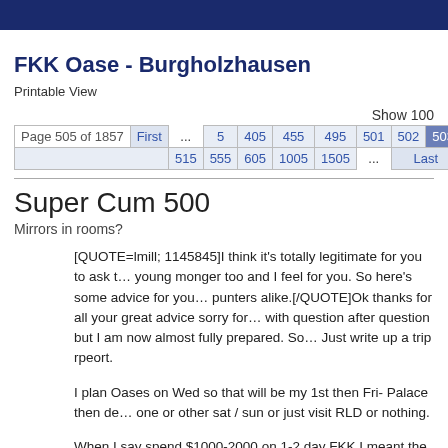FKK Oase - Burgholzhausen
Printable View
Show 100
Page 505 of 1857 | First | ... | 5 | 405 | 455 | 495 | 501 | 502 | 503 | 504 | 515 | 555 | 605 | 1005 | 1505 | ... | Last
Super Cum 500
Mirrors in rooms?
[QUOTE=lmill; 1145845]I think it's totally legitimate for you to ask t… young monger too and I feel for you. So here's some advice for you… punters alike.[/QUOTE]Ok thanks for all your great advice sorry for… with question after question but I am now almost fully prepared. So… Just write up a trip rpeort.

I plan Oases on Wed so that will be my 1st then Fri- Palace then de… one or other sat / sun or just visit RLD or nothing.

When I say spend $1000-2000 on 1-2 day FKK I meant the whole p… taxis, hotels etc. So though I may only spend $120 entry and $300… minimum on FKK I will still be spnding $60+ per night hotels and $2…